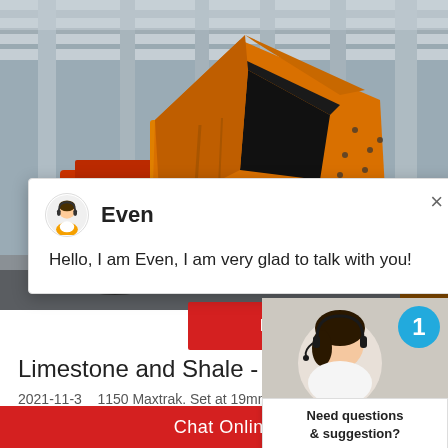[Figure (photo): Industrial machinery photo showing large orange/yellow impact crusher or similar heavy mining equipment in a factory/warehouse setting with steel columns and industrial ceiling]
[Figure (screenshot): Live chat popup with avatar of customer service agent named 'Even', showing message: Hello, I am Even, I am very glad to talk with you! with close X button]
Hello, I am Even, I am very glad to talk with you!
[Figure (screenshot): Side chat widget showing female customer service agent with headset, blue badge with number 1, 'Need questions & suggestion?' text and red 'Chat Now' button]
Limestone and Shale - 1150 Maxtrak
2021-11-3    1150 Maxtrak. Set at 19mm CSS, (200mm) – 10 inch (250mm) Running at 180
Chat Online